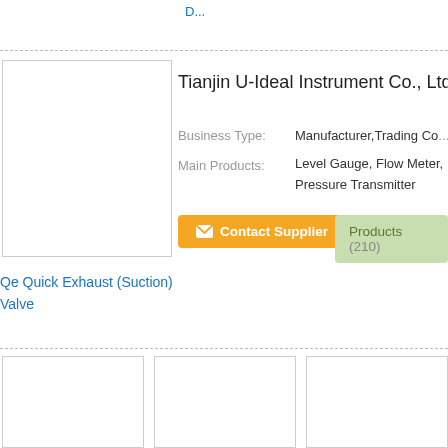D...
Tianjin U-Ideal Instrument Co., Ltd.
Business Type: Manufacturer,Trading Co...
Main Products: Level Gauge, Flow Meter, Pressure Transmitter
Contact Supplier
Products (210)
Qe Quick Exhaust (Suction) Valve
[Figure (photo): Supplier company logo/image placeholder]
[Figure (photo): Product thumbnail 1]
[Figure (photo): Product thumbnail 2]
[Figure (photo): Product thumbnail 3]